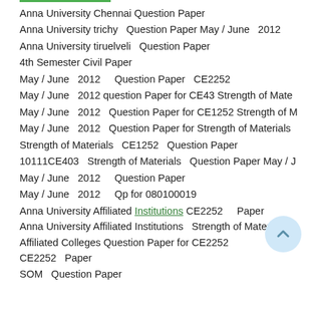Anna University Chennai Question Paper
Anna University trichy  Question Paper May / June  2012
Anna University tiruelveli  Question Paper
4th Semester Civil Paper
May / June  2012    Question Paper  CE2252
May / June  2012 question Paper for CE43 Strength of Mate
May / June  2012  Question Paper for CE1252 Strength of M
May / June  2012  Question Paper for Strength of Materials
Strength of Materials  CE1252  Question Paper
10111CE403  Strength of Materials  Question Paper May / J
May / June  2012   Question Paper
May / June  2012   Qp for 080100019
Anna University Affiliated Institutions CE2252    Paper
Anna University Affiliated Institutions  Strength of Materials
Affiliated Colleges Question Paper for CE2252
CE2252  Paper
SOM  Question Paper